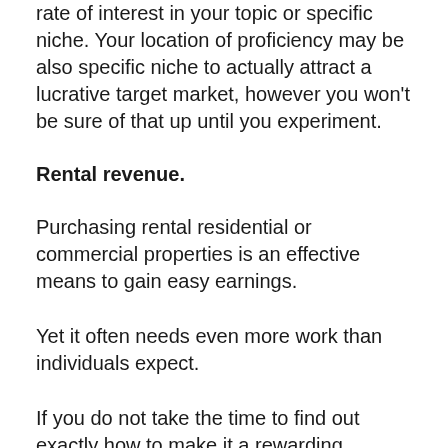rate of interest in your topic or specific niche. Your location of proficiency may be also specific niche to actually attract a lucrative target market, however you won't be sure of that up until you experiment.
Rental revenue.
Purchasing rental residential or commercial properties is an effective means to gain easy earnings.
Yet it often needs even more work than individuals expect.
If you do not take the time to find out exactly how to make it a rewarding venture, you might lose your investment and then some,